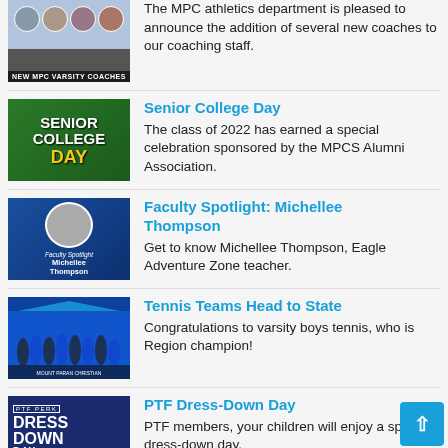[Figure (photo): Group photo of new MPC Varsity Coaches with label 'NEW MPC VARSITY COACHES']
The MPC athletics department is pleased to announce the addition of several new coaches to our coaching staff.
[Figure (illustration): Senior College Day pennant graphic in green and gold]
Senior College Day
The class of 2022 has earned a special celebration sponsored by the MPCS Alumni Association.
[Figure (photo): Faculty Spotlight: Michellee Thompson profile image on blue background]
Faculty Spotlight: Michellee Thompson
Get to know Michellee Thompson, Eagle Adventure Zone teacher.
[Figure (photo): Tennis team group photo under blue tent with Mount Paran Christian banner]
Tennis Teams Head to State
Congratulations to varsity boys tennis, who is Region champion!
[Figure (illustration): PTF Perk Dress Down Day graphic in dark blue, April 27]
PTF Dress-Down Day
PTF members, your children will enjoy a special dress-down day.